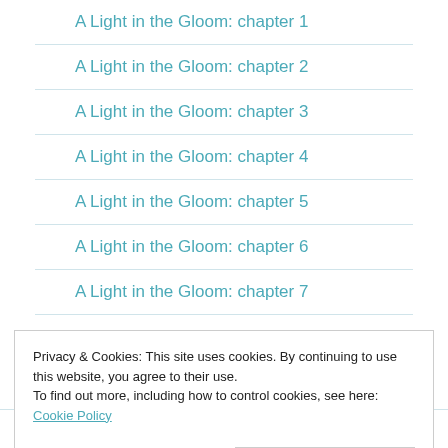A Light in the Gloom: chapter 1
A Light in the Gloom: chapter 2
A Light in the Gloom: chapter 3
A Light in the Gloom: chapter 4
A Light in the Gloom: chapter 5
A Light in the Gloom: chapter 6
A Light in the Gloom: chapter 7
A Light in the Gloom: chapter 8
Privacy & Cookies: This site uses cookies. By continuing to use this website, you agree to their use.
To find out more, including how to control cookies, see here: Cookie Policy
Close and accept
“Frailty! thy name is Lancashire!”